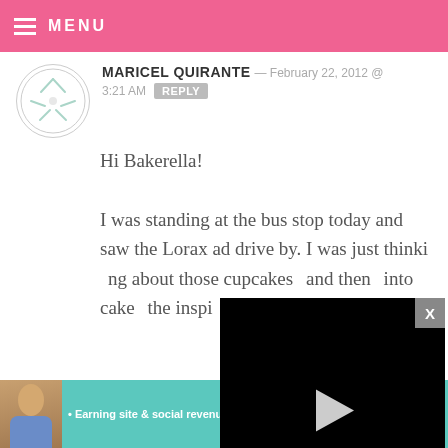MENU
MARICEL QUIRANTE — FEBRUARY 22, 2012 @ 3:21 AM REPLY
Hi Bakerella!

I was standing at the bus stop today and saw the Lorax ad drive by. I was just thinking about those cupcakes and then into cake the inspi
[Figure (screenshot): Embedded video player overlay showing black background with play button and controls showing 13:52 duration]
[Figure (infographic): SHE Partner Network advertisement banner - Earning site & social revenue, with Learn More button]